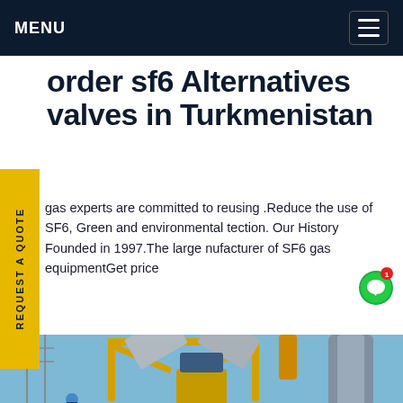MENU
order sf6 Alternatives valves in Turkmenistan
gas experts are committed to reusing .Reduce the use of SF6, Green and environmental tection. Our History Founded in 1997.The large nufacturer of SF6 gas equipmentGet price
REQUEST A QUOTE
[Figure (photo): Industrial SF6 gas equipment with yellow crane/frame structure at an electrical substation, with large cylindrical insulators visible on the right and blue sky background. Workers visible at the bottom.]